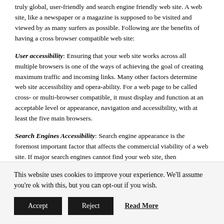truly global, user-friendly and search engine friendly web site. A web site, like a newspaper or a magazine is supposed to be visited and viewed by as many surfers as possible. Following are the benefits of having a cross browser compatible web site:
User accessibility: Ensuring that your web site works across all multiple browsers is one of the ways of achieving the goal of creating maximum traffic and incoming links. Many other factors determine web site accessibility and opera-ability. For a web page to be called cross- or multi-browser compatible, it must display and function at an acceptable level or appearance, navigation and accessibility, with at least the five main browsers.
Search Engines Accessibility: Search engine appearance is the foremost important factor that affects the commercial viability of a web site. If major search engines cannot find your web site, then
This website uses cookies to improve your experience. We'll assume you're ok with this, but you can opt-out if you wish.